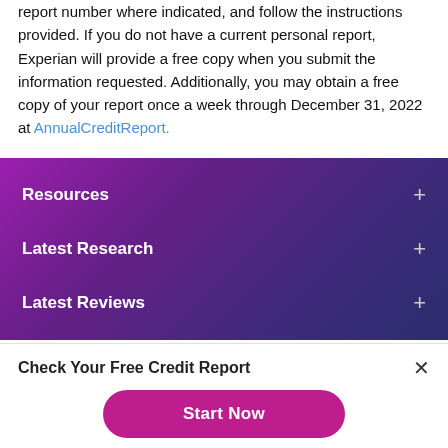report number where indicated, and follow the instructions provided. If you do not have a current personal report, Experian will provide a free copy when you submit the information requested. Additionally, you may obtain a free copy of your report once a week through December 31, 2022 at AnnualCreditReport.
Resources
Latest Research
Latest Reviews
Check Your Free Credit Report
Start Now